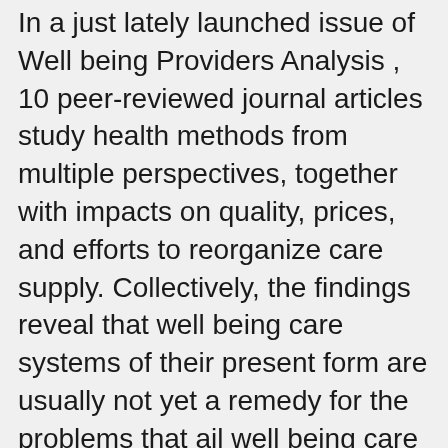In a just lately launched issue of Well being Providers Analysis , 10 peer-reviewed journal articles study health methods from multiple perspectives, together with impacts on quality, prices, and efforts to reorganize care supply. Collectively, the findings reveal that well being care systems of their present form are usually not yet a remedy for the problems that ail well being care in the United States.
Materiał youtube: jedna z ważniejszych tegorocznych dyskusji, z udziałem gen. Rajmunda Andrzejczaka, Szefa Sztabu Generalnego Wojska Polskiego i dr. Jacka